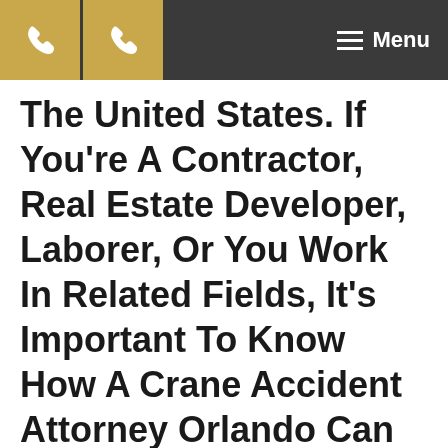☎ ☎ ☰ Menu
The United States. If You're A Contractor, Real Estate Developer, Laborer, Or You Work In Related Fields, It's Important To Know How A Crane Accident Attorney Orlando Can Be Of Use To You.
As a case of